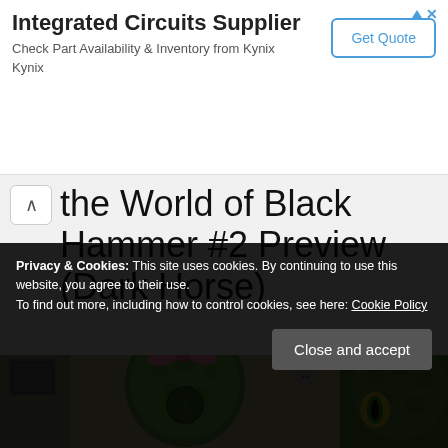[Figure (screenshot): Advertisement banner for Integrated Circuits Supplier - Kynix, with Get Quote button and ad icon]
the World of Black Hammer #2 Preview (Dark Horse)
[Figure (illustration): Comic book art showing green alien/monster characters with pink bow and another creature]
Privacy & Cookies: This site uses cookies. By continuing to use this website, you agree to their use.
To find out more, including how to control cookies, see here: Cookie Policy
Close and accept